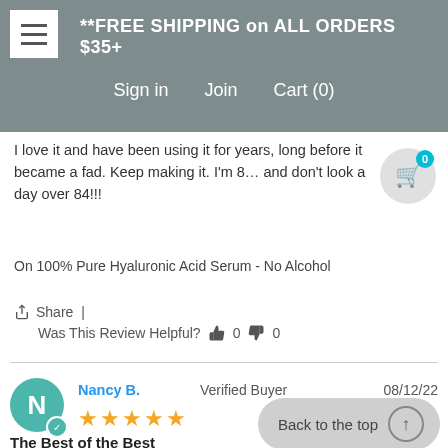**FREE SHIPPING on ALL ORDERS $35+  Sign in  Join  Cart (0)
I love it and have been using it for years, long before it became a fad. Keep making it. I'm 84 and don't look a day over 84!!!
On 100% Pure Hyaluronic Acid Serum - No Alcohol
Share  |  Was This Review Helpful?  0  0
Nancy B.  Verified Buyer  08/12/22
The Best of the Best
Vanish is the absolute best tri... for the face that I have ever u... Vanish for over 20 years and it really does make a difference in preventing wrinkles and giving your fact the "lift", it needs. I consider it a "must" have to keep my wrinkles "at bay"!